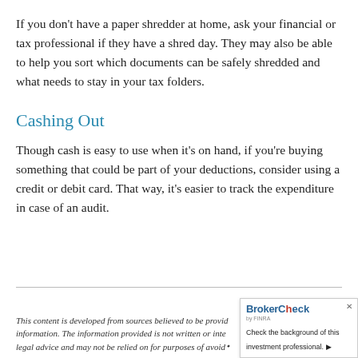If you don't have a paper shredder at home, ask your financial or tax professional if they have a shred day. They may also be able to help you sort which documents can be safely shredded and what needs to stay in your tax folders.
Cashing Out
Though cash is easy to use when it's on hand, if you're buying something that could be part of your deductions, consider using a credit or debit card. That way, it's easier to track the expenditure in case of an audit.
This content is developed from sources believed to be provid… information. The information provided is not written or inte… legal advice and may not be relied on for purposes of avoid…